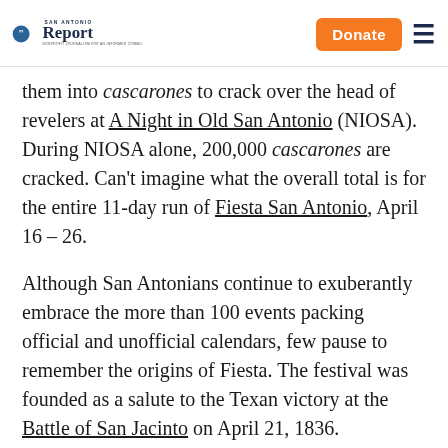San Antonio Report | Donate | Menu
them into cascarones to crack over the head of revelers at A Night in Old San Antonio (NIOSA). During NIOSA alone, 200,000 cascarones are cracked. Can't imagine what the overall total is for the entire 11-day run of Fiesta San Antonio, April 16 – 26.
Although San Antonians continue to exuberantly embrace the more than 100 events packing official and unofficial calendars, few pause to remember the origins of Fiesta. The festival was founded as a salute to the Texan victory at the Battle of San Jacinto on April 21, 1836.